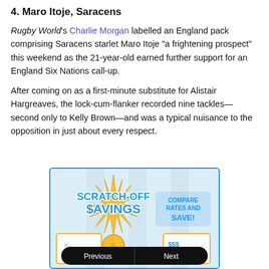4. Maro Itoje, Saracens
Rugby World's Charlie Morgan labelled an England pack comprising Saracens starlet Maro Itoje "a frightening prospect" this weekend as the 21-year-old earned further support for an England Six Nations call-up.
After coming on as a first-minute substitute for Alistair Hargreaves, the lock-cum-flanker recorded nine tackles—second only to Kelly Brown—and was a typical nuisance to the opposition in just about every respect.
[Figure (infographic): Advertisement banner showing 'Scratch-Off Savings' with text 'Compare Rates and Save!' and a Previous/Next navigation bar at the bottom.]